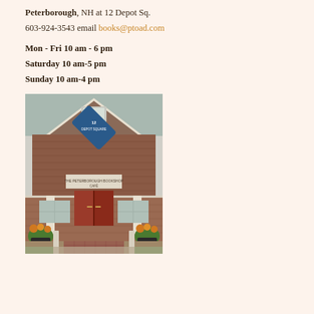Peterborough, NH at 12 Depot Sq. 603-924-3543 email books@ptoad.com
Mon - Fri 10 am - 6 pm
Saturday 10 am-5 pm
Sunday 10 am-4 pm
[Figure (photo): Exterior photo of a brick building at 12 Depot Square, Peterborough NH, showing the bookstore entrance with red doors, flower planters, white fence posts, and a brick walkway leading to the entrance.]